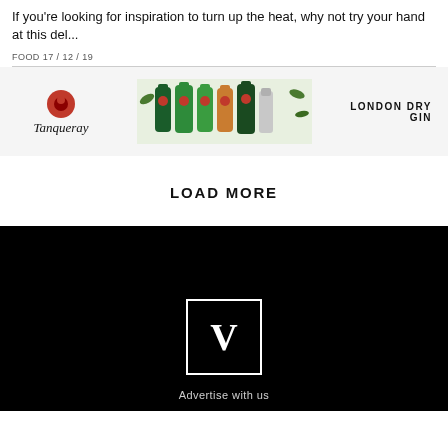If you're looking for inspiration to turn up the heat, why not try your hand at this del...
FOOD 17 / 12 / 19
[Figure (advertisement): Tanqueray London Dry Gin advertisement banner with logo, product bottles, and tagline 'LONDON DRY GIN']
LOAD MORE
[Figure (logo): V magazine logo in white brackets on black background]
Advertise with us